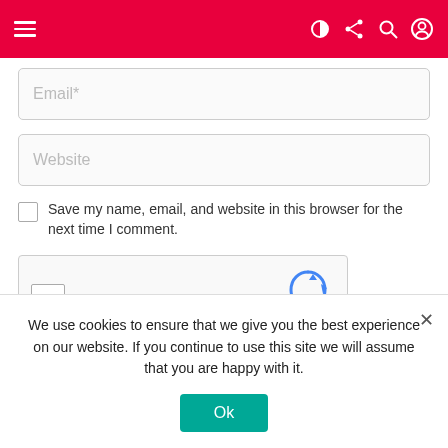Navigation header with hamburger menu and icons
Email*
Website
Save my name, email, and website in this browser for the next time I comment.
[Figure (other): reCAPTCHA widget with checkbox, 'I'm not a robot' text, reCAPTCHA logo, Privacy and Terms links]
We use cookies to ensure that we give you the best experience on our website. If you continue to use this site we will assume that you are happy with it.
Ok